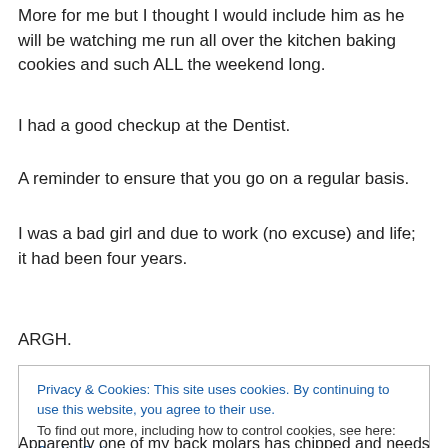More for me but I thought I would include him as he will be watching me run all over the kitchen baking cookies and such ALL the weekend long.
I had a good checkup at the Dentist.
A reminder to ensure that you go on a regular basis.
I was a bad girl and due to work (no excuse) and life; it had been four years.
ARGH.
Privacy & Cookies: This site uses cookies. By continuing to use this website, you agree to their use. To find out more, including how to control cookies, see here: Cookie Policy
Apparently one of my back molars has chipped and needs